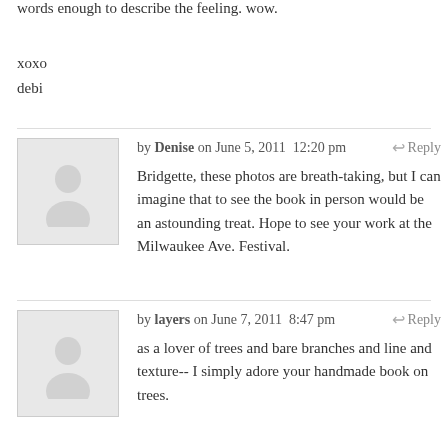words enough to describe the feeling. wow.
xoxo
debi
by Denise on June 5, 2011  12:20 pm  Reply
Bridgette, these photos are breath-taking, but I can imagine that to see the book in person would be an astounding treat. Hope to see your work at the Milwaukee Ave. Festival.
by layers on June 7, 2011  8:47 pm  Reply
as a lover of trees and bare branches and line and texture-- I simply adore your handmade book on trees.